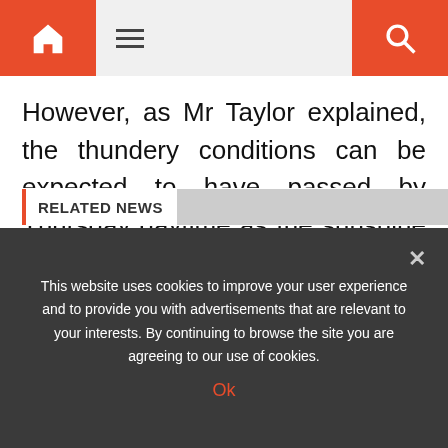Navigation bar with home icon, menu icon, and search icon
However, as Mr Taylor explained, the thundery conditions can be expected to have passed by Thursday daytime as the sunshine returns for most of the UK.
Source: Read Full Article
RELATED NEWS
This website uses cookies to improve your user experience and to provide you with advertisements that are relevant to your interests. By continuing to browse the site you are agreeing to our use of cookies. Ok